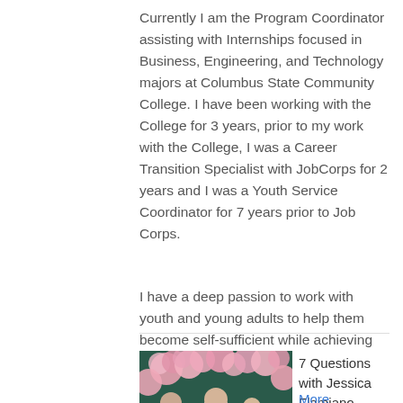Currently I am the Program Coordinator assisting with Internships focused in Business, Engineering, and Technology majors at Columbus State Community College. I have been working with the College for 3 years, prior to my work with the College, I was a Career Transition Specialist with JobCorps for 2 years and I was a Youth Service Coordinator for 7 years prior to Job Corps.
I have a deep passion to work with youth and young adults to help them become self-sufficient while achieving their personal goals.
[Figure (photo): A family photo with a man, woman, baby, and child in front of a floral background with pink flowers]
7 Questions with Jessica Flamiano
More